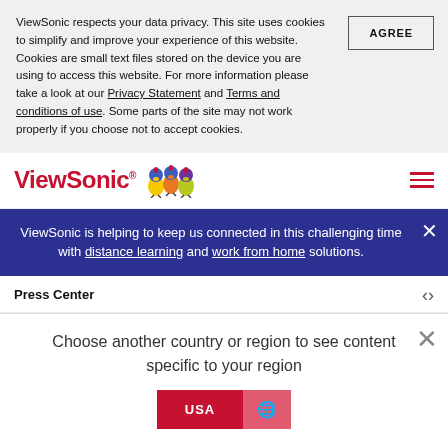ViewSonic respects your data privacy. This site uses cookies to simplify and improve your experience of this website. Cookies are small text files stored on the device you are using to access this website. For more information please take a look at our Privacy Statement and Terms and conditions of use. Some parts of the site may not work properly if you choose not to accept cookies.
[Figure (logo): ViewSonic logo with red text and three colorful birds]
ViewSonic is helping to keep us connected in this challenging time with distance learning and work from home solutions.
Press Center
Choose another country or region to see content specific to your region